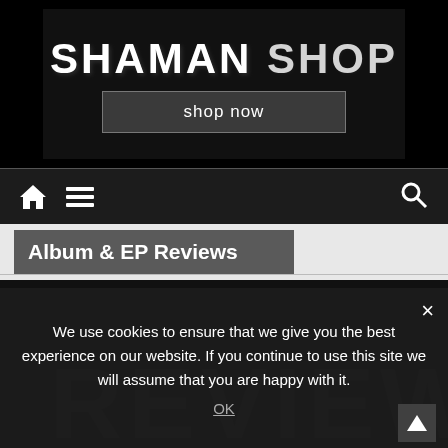[Figure (logo): Shaman Shop banner with distressed white text 'SHAMAN SHOP' on dark background and a 'shop now' button]
[Figure (screenshot): Navigation bar with home icon, hamburger menu icon on left, and search icon on right, dark background]
Album & EP Reviews
[Figure (screenshot): Dark background image area with large distressed 'REVIEW' text visible]
We use cookies to ensure that we give you the best experience on our website. If you continue to use this site we will assume that you are happy with it.
OK